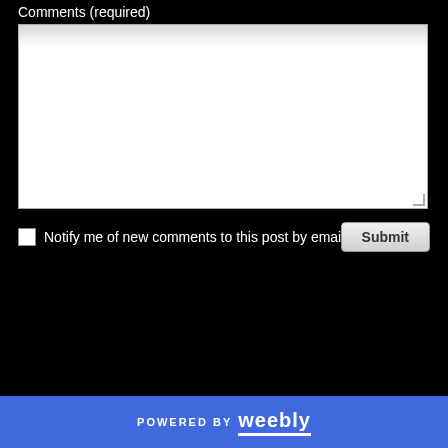Comments (required)
[Figure (screenshot): A form textarea input field with a light gray-to-white gradient background and resize handle in the bottom right corner]
Notify me of new comments to this post by email
Submit
POWERED BY weebly